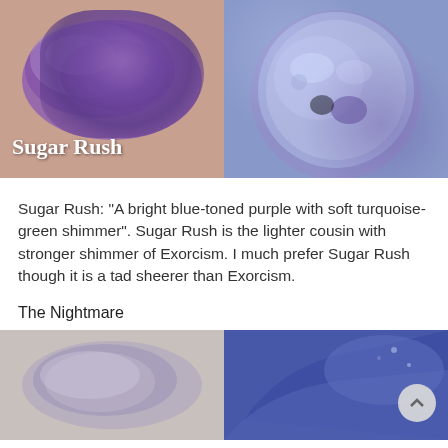[Figure (photo): Two side-by-side photos: left shows a purple-blue eyeshadow swatch on skin with 'Sugar Rush' text overlay; right shows a close-up of a round purple-blue glittery eyeshadow pan]
Sugar Rush: "A bright blue-toned purple with soft turquoise-green shimmer". Sugar Rush is the lighter cousin with stronger shimmer of Exorcism. I much prefer Sugar Rush though it is a tad sheerer than Exorcism.
The Nightmare
[Figure (photo): Two side-by-side photos: left shows a shimmery lavender-grey eyeshadow swatch on skin; right shows a dark blue-purple eyeshadow pan]